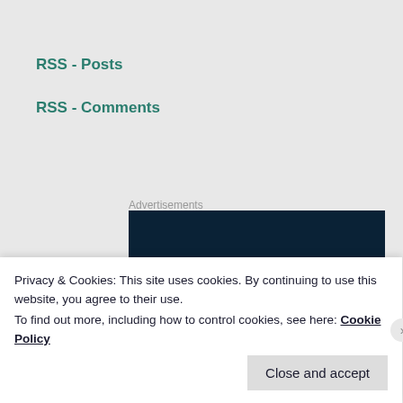RSS - Posts
RSS - Comments
Advertisements
[Figure (logo): Built By WordPress logo banner on dark navy background]
Privacy & Cookies: This site uses cookies. By continuing to use this website, you agree to their use.
To find out more, including how to control cookies, see here: Cookie Policy